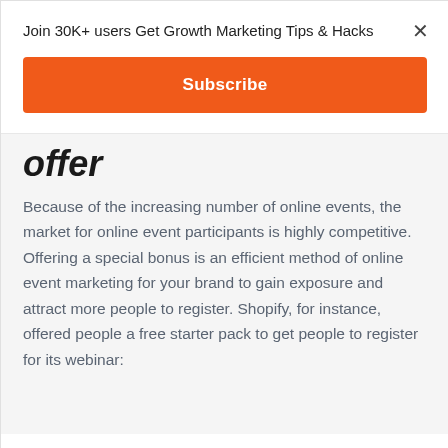Join 30K+ users Get Growth Marketing Tips & Hacks
Subscribe
offer
Because of the increasing number of online events, the market for online event participants is highly competitive. Offering a special bonus is an efficient method of online event marketing for your brand to gain exposure and attract more people to register. Shopify, for instance, offered people a free starter pack to get people to register for its webinar: